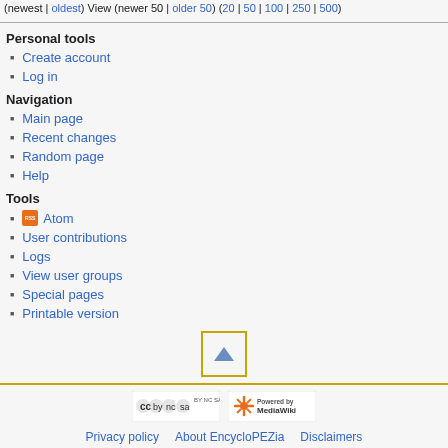(newest | oldest) View (newer 50 | older 50) (20 | 50 | 100 | 250 | 500)
Personal tools
Create account
Log in
Navigation
Main page
Recent changes
Random page
Help
Tools
Atom
User contributions
Logs
View user groups
Special pages
Printable version
[Figure (other): Scroll to top button with upward triangle arrow]
Privacy policy   About EncycloPEZia   Disclaimers